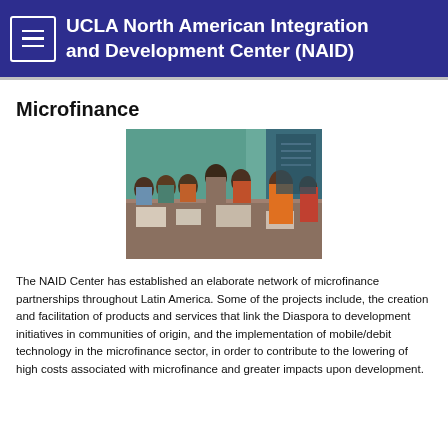UCLA North American Integration and Development Center (NAID)
Microfinance
[Figure (photo): Group of women seated around a table in a meeting, appearing to be a microfinance group meeting. Women are dressed in colorful traditional clothing including saris. Documents and papers are on the table.]
The NAID Center has established an elaborate network of microfinance partnerships throughout Latin America.  Some of the projects include, the creation and facilitation of products and services that link the Diaspora to development initiatives in communities of origin, and the implementation of mobile/debit technology in the microfinance sector, in order to contribute to the lowering of high costs associated with microfinance and greater impacts upon development.